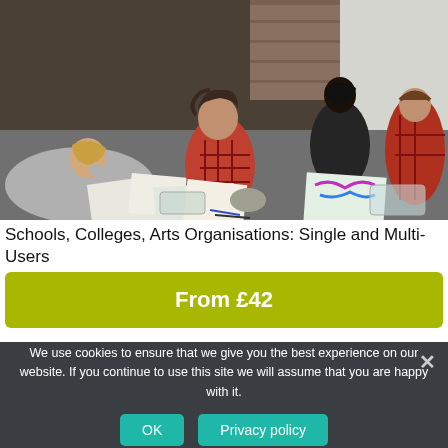[Figure (photo): Students and young people sitting on a floor engaged in an art/drawing activity, with papers, pens and art supplies scattered around them.]
Schools, Colleges, Arts Organisations: Single and Multi-Users
From £42
We use cookies to ensure that we give you the best experience on our website. If you continue to use this site we will assume that you are happy with it.
OK
Privacy policy